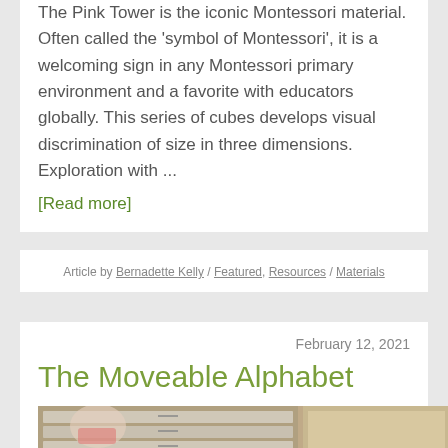The Pink Tower is the iconic Montessori material. Often called the 'symbol of Montessori', it is a welcoming sign in any Montessori primary environment and a favorite with educators globally. This series of cubes develops visual discrimination of size in three dimensions. Exploration with ...
[Read more]
Article by Bernadette Kelly / Featured, Resources / Materials
February 12, 2021
The Moveable Alphabet
[Figure (photo): Photo of a child wearing a patterned mask working with what appears to be a Montessori moveable alphabet material with small drawer units]